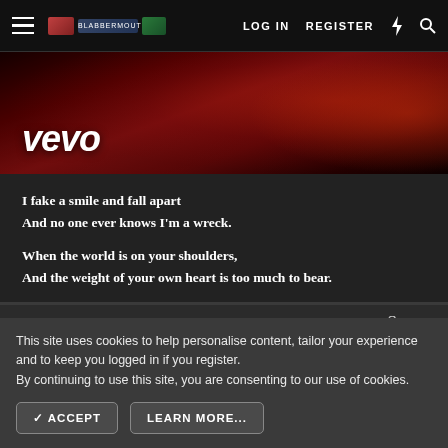LOG IN  REGISTER
[Figure (screenshot): Vevo video thumbnail banner with dark red background and Vevo logo in white bold italic text]
I fake a smile and fall apart
And no one ever knows I'm a wreck.

When the world is on your shoulders,
And the weight of your own heart is too much to bear.
May 17, 2022  #259
Verena
This site uses cookies to help personalise content, tailor your experience and to keep you logged in if you register.
By continuing to use this site, you are consenting to our use of cookies.
ACCEPT  LEARN MORE...